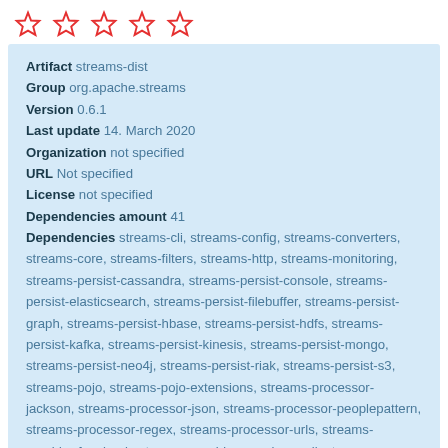[Figure (other): Five red outline star rating icons in a row]
Artifact streams-dist
Group org.apache.streams
Version 0.6.1
Last update 14. March 2020
Organization not specified
URL Not specified
License not specified
Dependencies amount 41
Dependencies streams-cli, streams-config, streams-converters, streams-core, streams-filters, streams-http, streams-monitoring, streams-persist-cassandra, streams-persist-console, streams-persist-elasticsearch, streams-persist-filebuffer, streams-persist-graph, streams-persist-hbase, streams-persist-hdfs, streams-persist-kafka, streams-persist-kinesis, streams-persist-mongo, streams-persist-neo4j, streams-persist-riak, streams-persist-s3, streams-pojo, streams-pojo-extensions, streams-processor-jackson, streams-processor-json, streams-processor-peoplepattern, streams-processor-regex, streams-processor-urls, streams-provider-facebook, streams-provider-google-gmail, streams-